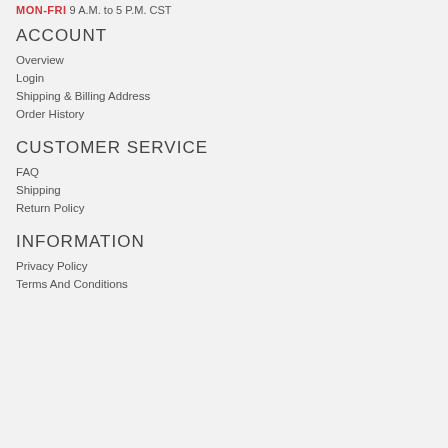MON-FRI 9 A.M. to 5 P.M. CST
ACCOUNT
Overview
Login
Shipping & Billing Address
Order History
CUSTOMER SERVICE
FAQ
Shipping
Return Policy
INFORMATION
Privacy Policy
Terms And Conditions